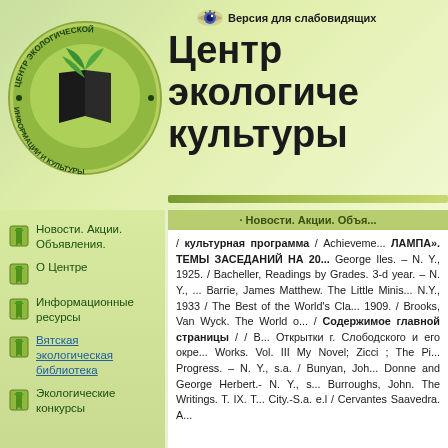[Figure (logo): Circular logo for the Center of Ecological Information and Culture with green leaves and book motif, Russian text around border]
Версия для слабовидящих
Центр экологической культуры
· Новости. Акции. Объявления.
Новости. Акции. Объявления.
О Центре
Информационные ресурсы
Вятская экологическая библиотека
Экологические конкурсы
/ культурная программа / Achievements. ЛАМПА». ТЕМЫ ЗАСЕДАНИЙ НА 20... George Iles. – N. Y., 1925. / Bacheller, Readings by Grades. 3-d year. – N. Y., ... Barrie, James Matthew. The Little Minis... N.Y., 1933 / The Best of the World's Cla... 1909. / Brooks, Van Wyck. The World o... / Содержимое главной страницы / / В... Открытки г. Слободского и его окре... Works. Vol. III My Novel; Zicci ; The Pi... Progress. – N. Y., s.a. / Bunyan, Joh... Donne and George Herbert.- N. Y., s... Burroughs, John. The Writings. T. IX. T... City.-S.a. e.l / Cervantes Saavedra. A...